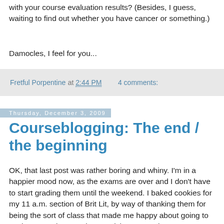with your course evaluation results? (Besides, I guess, waiting to find out whether you have cancer or something.)
Damocles, I feel for you...
Fretful Porpentine at 2:44 PM   4 comments:
Thursday, December 3, 2009
Courseblogging: The end / the beginning
OK, that last post was rather boring and whiny. I'm in a happier mood now, as the exams are over and I don't have to start grading them until the weekend. I baked cookies for my 11 a.m. section of Brit Lit, by way of thanking them for being the sort of class that made me happy about going to work on Monday mornings. I wish I were going to see more of them next semester; right now, I have one enrolled in the Shakespeare class and one in Brit Lit II, while the 8 a.m. students, most of whom didn't show any obvious signs of